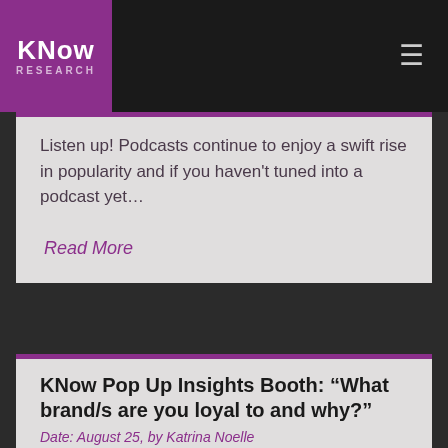KNow RESEARCH
Listen up! Podcasts continue to enjoy a swift rise in popularity and if you haven't tuned into a podcast yet…
Read More
KNow Pop Up Insights Booth: “What brand/s are you loyal to and why?”
Date: August 25, by Katrina Noelle
KNow Research's Pop Up Insights Booth at Loyalty306's Spring Expo asked the members of the